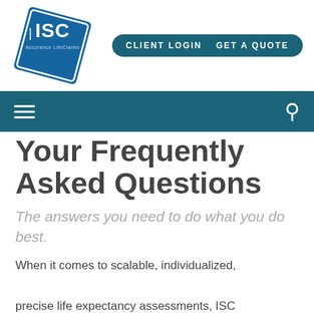[Figure (logo): ISC (Accurance LifeClaims) diamond-shaped blue logo with white text]
[Figure (other): Teal rounded rectangle button with text CLIENT LOGIN and GET A QUOTE]
[Figure (other): Teal navigation bar with hamburger menu icon on left and search icon on right]
Your Frequently Asked Questions
The answers you need to do what you do best.
When it comes to scalable, individualized, precise life expectancy assessments, ISC Services is here for you. Read answers to frequently asked questions about...